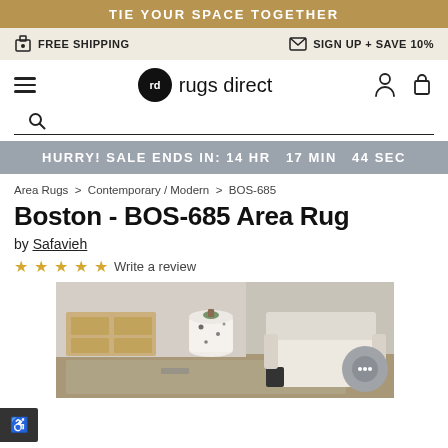TIE YOUR SPACE TOGETHER
FREE SHIPPING   SIGN UP + SAVE 10%
[Figure (logo): Rugs Direct logo with hamburger menu, brand mark circle, brand name 'rugs direct', user icon and cart icon]
HURRY! SALE ENDS IN: 14 HR  17 MIN  44 SEC
Area Rugs  >  Contemporary / Modern  >  BOS-685
Boston - BOS-685 Area Rug
by Safavieh
☆☆☆☆☆  Write a review
[Figure (photo): Room scene showing an area rug with a white terrazzo-style stool, a beige armchair, and wood furniture in the background]